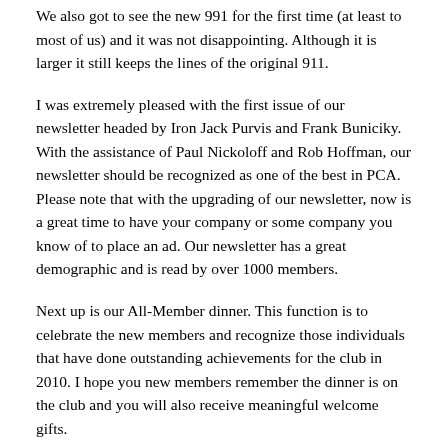We also got to see the new 991 for the first time (at least to most of us) and it was not disappointing. Although it is larger it still keeps the lines of the original 911.
I was extremely pleased with the first issue of our newsletter headed by Iron Jack Purvis and Frank Buniciky. With the assistance of Paul Nickoloff and Rob Hoffman, our newsletter should be recognized as one of the best in PCA. Please note that with the upgrading of our newsletter, now is a great time to have your company or some company you know of to place an ad. Our newsletter has a great demographic and is read by over 1000 members.
Next up is our All-Member dinner. This function is to celebrate the new members and recognize those individuals that have done outstanding achievements for the club in 2010. I hope you new members remember the dinner is on the club and you will also receive meaningful welcome gifts.
We have scheduled a number of events this year and a calendar can be found on our website. In addition to our track events (which was mentioned in last month's newsletter) we